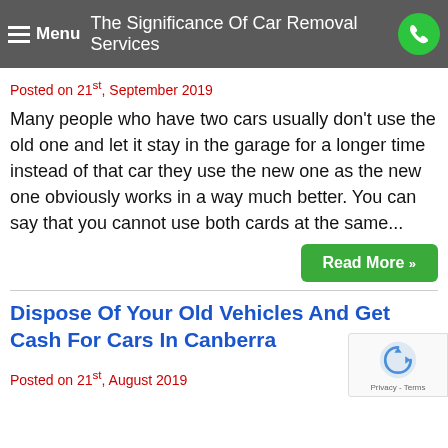The Significance Of Car Removal Services
Posted on 21st, September 2019
Many people who have two cars usually don't use the old one and let it stay in the garage for a longer time instead of that car they use the new one as the new one obviously works in a way much better. You can say that you cannot use both cards at the same...
Read More »
Dispose Of Your Old Vehicles And Get Cash For Cars In Canberra
Posted on 21st, August 2019